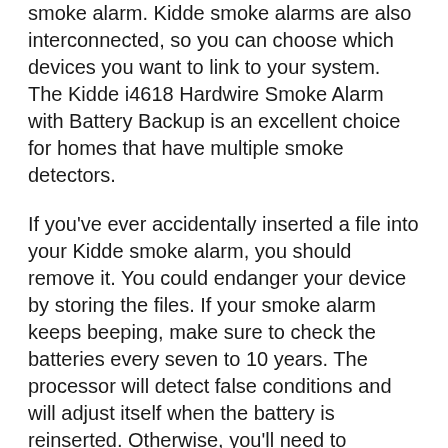smoke alarm. Kidde smoke alarms are also interconnected, so you can choose which devices you want to link to your system. The Kidde i4618 Hardwire Smoke Alarm with Battery Backup is an excellent choice for homes that have multiple smoke detectors.
If you've ever accidentally inserted a file into your Kidde smoke alarm, you should remove it. You could endanger your device by storing the files. If your smoke alarm keeps beeping, make sure to check the batteries every seven to 10 years. The processor will detect false conditions and will adjust itself when the battery is reinserted. Otherwise, you'll need to physically reset the alarm by unplugging it. This is a simple process.